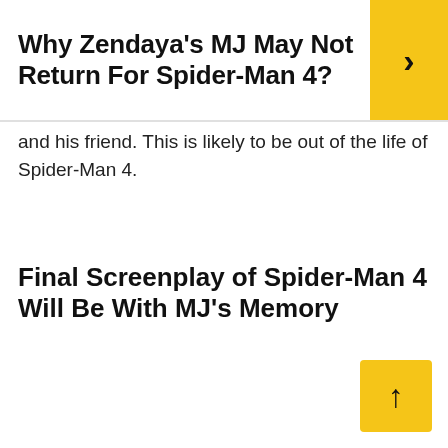Why Zendaya's MJ May Not Return For Spider-Man 4?
and his friend. This is likely to be out of the life of Spider-Man 4.
Final Screenplay of Spider-Man 4 Will Be With MJ's Memory